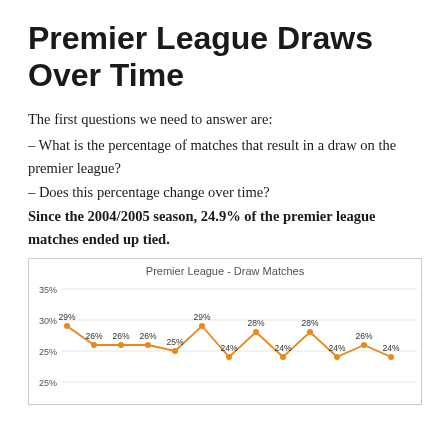Premier League Draws Over Time
The first questions we need to answer are:
– What is the percentage of matches that result in a draw on the premier league?
– Does this percentage change over time?
Since the 2004/2005 season, 24.9% of the premier league matches ended up tied.
[Figure (line-chart): Premier League - Draw Matches]